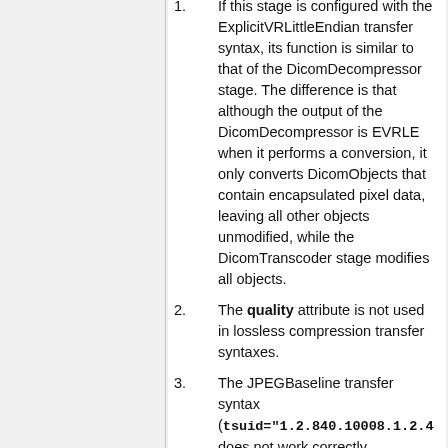If this stage is configured with the ExplicitVRLittleEndian transfer syntax, its function is similar to that of the DicomDecompressor stage. The difference is that although the output of the DicomDecompressor is EVRLE when it performs a conversion, it only converts DicomObjects that contain encapsulated pixel data, leaving all other objects unmodified, while the DicomTranscoder stage modifies all objects.
The quality attribute is not used in lossless compression transfer syntaxes.
The JPEGBaseline transfer syntax (tsuid="1.2.840.10008.1.2.4 does not work correctly.